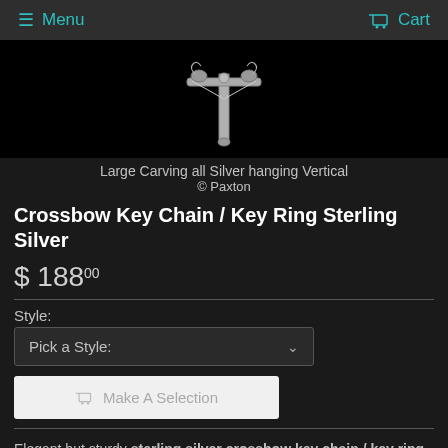Menu  Cart
[Figure (photo): Crossbow key chain in sterling silver, hanging vertically against black background]
Large Carving all Silver hanging Vertical
© Paxton
Crossbow Key Chain / Key Ring Sterling Silver
$ 188.00
Style:
Pick a Style:
Make A Selection
Elegant but sturdy sterling silver crossbow key chain / key ring hand carved, cast and fabricated by Paxton. Crafted from